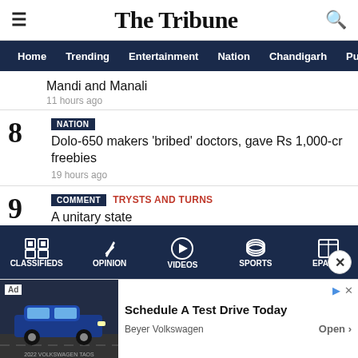The Tribune
Home Trending Entertainment Nation Chandigarh Punjab
Mandi and Manali
11 hours ago
8 NATION Dolo-650 makers 'bribed' doctors, gave Rs 1,000-cr freebies 19 hours ago
9 COMMENT TRYSTS AND TURNS A unitary state 20 hours ago
10 TRENDING Watch: Finland PM defends herself as party video goes viral; says
CLASSIFIEDS OPINION VIDEOS SPORTS EPAPER
[Figure (screenshot): Advertisement banner: Schedule A Test Drive Today - Beyer Volkswagen, with car image on left side]